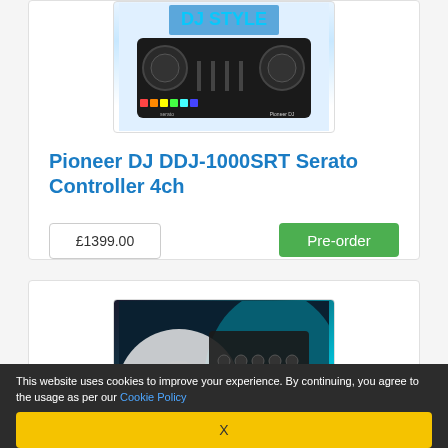[Figure (photo): Pioneer DJ DDJ-1000SRT Serato Controller 4ch device image, showing a black 4-channel DJ controller with colorful pads, against a blue-lit background]
Pioneer DJ DDJ-1000SRT Serato Controller 4ch
£1399.00
Pre-order
[Figure (photo): Second DJ controller product image showing a dark controller with colorful RGB pads against a teal/turquoise lit background]
This website uses cookies to improve your experience. By continuing, you agree to the usage as per our Cookie Policy
X